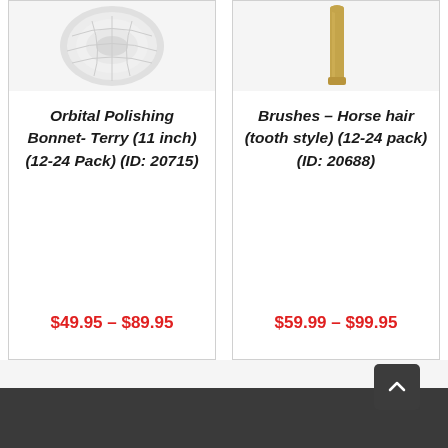[Figure (photo): Orbital polishing bonnet terry cloth pad, white circular fluffy pad viewed from above]
Orbital Polishing Bonnet- Terry (11 inch) (12-24 Pack) (ID: 20715)
$49.95 – $89.95
[Figure (photo): Horse hair tooth style brush with golden/tan wooden handle, viewed from above at an angle]
Brushes – Horse hair (tooth style) (12-24 pack) (ID: 20688)
$59.99 – $99.95